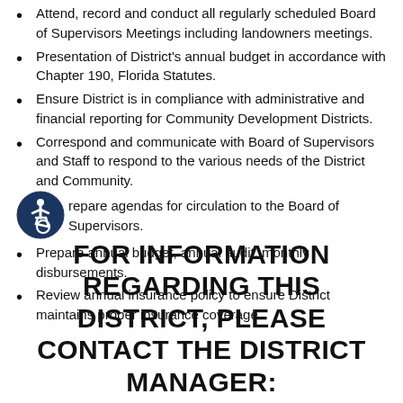Attend, record and conduct all regularly scheduled Board of Supervisors Meetings including landowners meetings.
Presentation of District's annual budget in accordance with Chapter 190, Florida Statutes.
Ensure District is in compliance with administrative and financial reporting for Community Development Districts.
Correspond and communicate with Board of Supervisors and Staff to respond to the various needs of the District and Community.
Prepare agendas for circulation to the Board of Supervisors.
Prepare annual budget, annual audit, monthly disbursements.
Review annual insurance policy to ensure District maintains proper insurance coverage.
FOR INFORMATION REGARDING THIS DISTRICT, PLEASE CONTACT THE DISTRICT MANAGER: